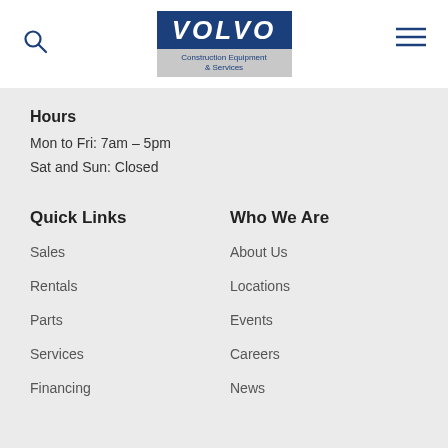[Figure (logo): Volvo Construction Equipment & Services logo: blue rectangle with white italic VOLVO text above a gray rectangle with blue text 'Construction Equipment & Services']
Hours
Mon to Fri: 7am – 5pm
Sat and Sun: Closed
Quick Links
Sales
Rentals
Parts
Services
Financing
Who We Are
About Us
Locations
Events
Careers
News